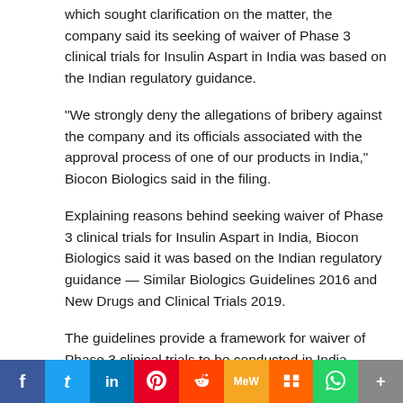which sought clarification on the matter, the company said its seeking of waiver of Phase 3 clinical trials for Insulin Aspart in India was based on the Indian regulatory guidance.
“We strongly deny the allegations of bribery against the company and its officials associated with the approval process of one of our products in India,” Biocon Biologics said in the filing.
Explaining reasons behind seeking waiver of Phase 3 clinical trials for Insulin Aspart in India, Biocon Biologics said it was based on the Indian regulatory guidance — Similar Biologics Guidelines 2016 and New Drugs and Clinical Trials 2019.
The guidelines provide a framework for waiver of Phase 3 clinical trials to be conducted in India based on a commitment to undertake a Phase 4 trial, the design of which should be approved by the central licensing authority, it said.
[Figure (infographic): Social sharing bar with icons for Facebook, Twitter, LinkedIn, Pinterest, Reddit, MeWe, Mix, WhatsApp, and More]